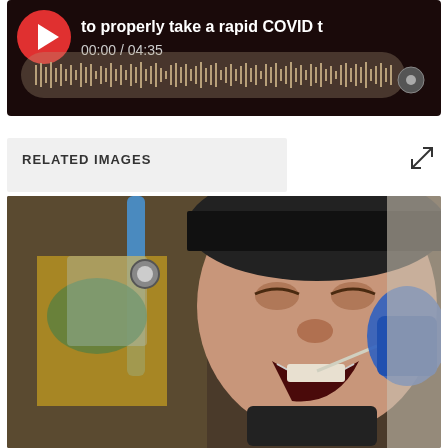[Figure (screenshot): Video player screenshot showing a COVID rapid test instructional video. Dark background with play button, title 'to properly take a rapid COVID t...', timestamp '00:00 / 04:35', and audio waveform bar below.]
RELATED IMAGES
[Figure (photo): Photo of a person in a black cap with mouth open receiving a COVID swab test from a healthcare worker wearing PPE including face shield and gloves.]